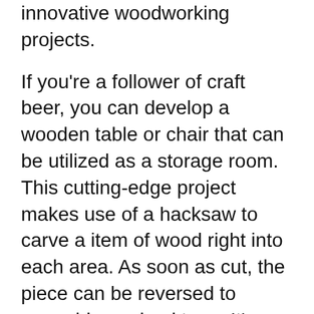innovative woodworking projects.
If you're a follower of craft beer, you can develop a wooden table or chair that can be utilized as a storage room. This cutting-edge project makes use of a hacksaw to carve a item of wood right into each area. As soon as cut, the piece can be reversed to resemble a mixed tape. It's likewise terrific for events! Below are a couple of more ideas for imaginative woodworking projects. The opportunities are unlimited.
Craft beer is prominent now more than ever, so you can easily target this expanding market. Beer container pet crates are excellent since they appeal to the vintage-chic crowd. They are likewise easy as well as